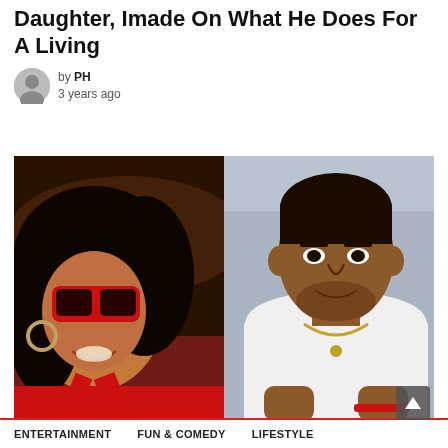Daughter, Imade On What He Does For A Living
by PH
3 years ago
[Figure (photo): Two photos side by side: left shows a young woman in red sunglasses and red outfit smiling; right shows a young man in a white t-shirt with a gold chain, against a grey background.]
ENTERTAINMENT   FUN & COMEDY   LIFESTYLE